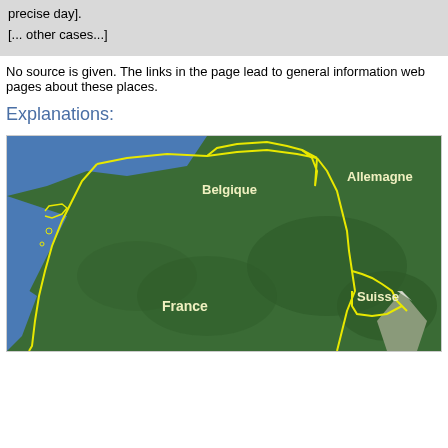precise day].
[... other cases...]
No source is given. The links in the page lead to general information web pages about these places.
Explanations:
[Figure (map): Satellite map showing France and neighboring countries (Belgique, Allemagne, Suisse) with yellow border outlines highlighting national boundaries.]